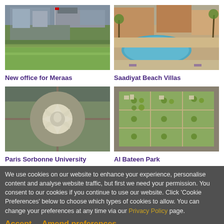[Figure (photo): Aerial/landscape photo of new office building for Meraas with green lawn and buildings in background]
[Figure (photo): Aerial photo of Saadiyat Beach Villas showing terracotta buildings and a blue swimming pool]
New office for Meraas
Saadiyat Beach Villas
[Figure (photo): Aerial architectural rendering of Paris Sorbonne University campus with star-shaped white building]
[Figure (photo): Aerial photo of Al Bateen Park showing a grid of greenery and pathways]
Paris Sorbonne University
Al Bateen Park
We use cookies on our website to enhance your experience, personalise content and analyse website traffic, but first we need your permission. You consent to our cookies if you continue to use our website. Click 'Cookie Preferences' below to choose which types of cookies to allow. You can change your preferences at any time via our Privacy Policy page.
Accept    Amend preferences